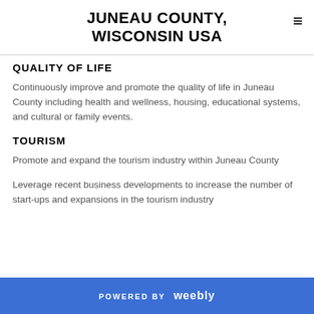JUNEAU COUNTY, WISCONSIN USA
QUALITY OF LIFE
Continuously improve and promote the quality of life in Juneau County including health and wellness, housing, educational systems, and cultural or family events.
TOURISM
Promote and expand the tourism industry within Juneau County
Leverage recent business developments to increase the number of start-ups and expansions in the tourism industry
POWERED BY weebly